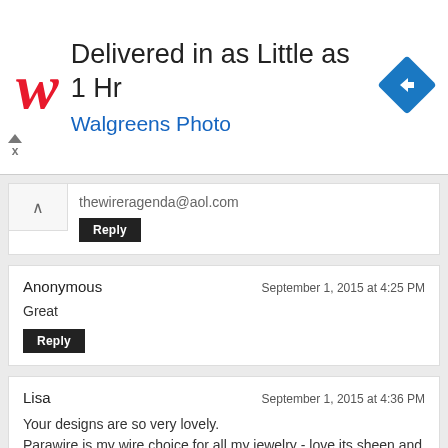[Figure (other): Walgreens Photo advertisement banner: red stylized W logo, headline 'Delivered in as Little as 1 Hr', subline 'Walgreens Photo', blue diamond navigation icon on right, close/skip controls on left]
thewireragenda@aol.com
Reply
Anonymous
September 1, 2015 at 4:25 PM
Great
Reply
Lisa
September 1, 2015 at 4:36 PM
Your designs are so very lovely.
Parawire is my wire choice for all my jewelry - love its sheen and the variety of colors.
laa314@aol.com
Reply